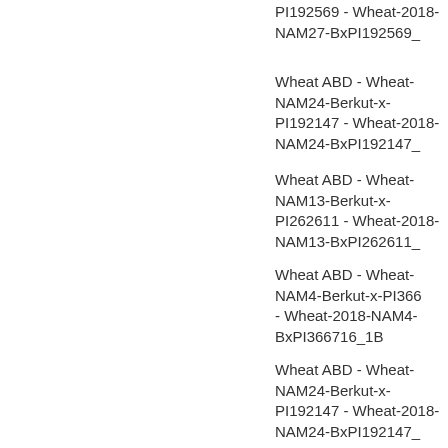PI192569 - Wheat-2018-NAM27-BxPI192569
Wheat ABD - Wheat-NAM24-Berkut-x-PI192147 - Wheat-2018-NAM24-BxPI192147
Wheat ABD - Wheat-NAM13-Berkut-x-PI262611 - Wheat-2018-NAM13-BxPI262611
Wheat ABD - Wheat-NAM4-Berkut-x-PI366716 - Wheat-2018-NAM4-BxPI366716_1B
Wheat ABD - Wheat-NAM24-Berkut-x-PI192147 - Wheat-2018-NAM24-BxPI192147
Wheat ABD - Wheat-NAM3-Berkut-x-PI283147 - Wheat-2018-NAM3-BxPI283147_1B
Wheat ABD - Wheat-NAM8-Berkut-x-PBW343 - Wheat-2018-NAM8-BxPBW343_1B